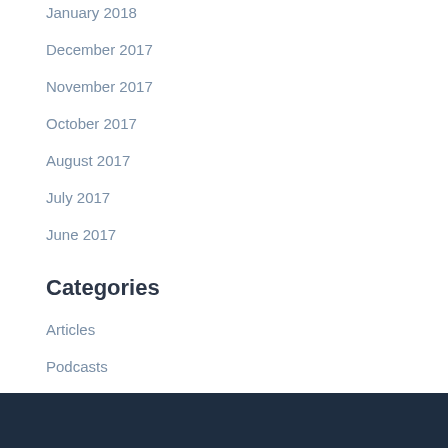January 2018
December 2017
November 2017
October 2017
August 2017
July 2017
June 2017
Categories
Articles
Podcasts
Uncategorized